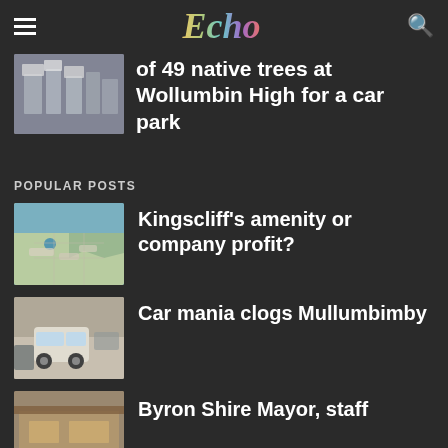Echo
of 49 native trees at Wollumbin High for a car park
POPULAR POSTS
Kingscliff's amenity or company profit?
Car mania clogs Mullumbimby
Byron Shire Mayor, staff